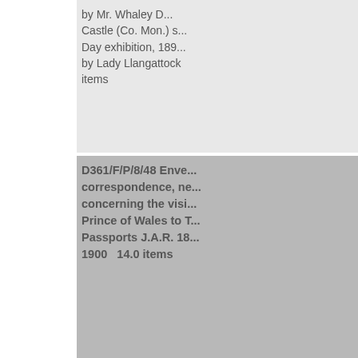by Mr. Whaley D... Castle (Co. Mon.) s... Day exhibition, 189... by Lady Llangattock items
D361/F/P/8/48 Envelope correspondence, ne... concerning the visi... Prince of Wales to T... Passports J.A.R. 18... 1900   14.0 items
D361/F/P/8/49 Pap... to Portsmouth Litera... Society. "The Mutini... The Nore in 1797".
D361/F/P/8/50 Shi... London Show progr... pedigrees, descripti... breeders etc. 1903
D361/F/P/8/51 Mo... Printing and Publis... Ltd. 1901   6.0 items